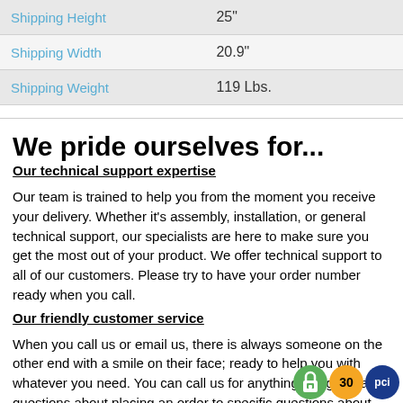|  |  |
| --- | --- |
| Shipping Height | 25" |
| Shipping Width | 20.9" |
| Shipping Weight | 119 Lbs. |
We pride ourselves for...
Our technical support expertise
Our team is trained to help you from the moment you receive your delivery. Whether it's assembly, installation, or general technical support, our specialists are here to make sure you get the most out of your product. We offer technical support to all of our customers. Please try to have your order number ready when you call.
Our friendly customer service
When you call us or email us, there is always someone on the other end with a smile on their face; ready to help you with whatever you need. You can call us for anything like general questions about placing an order to specific questions about product features and details, or even if you need to put in a warranty claim; we're here to help.